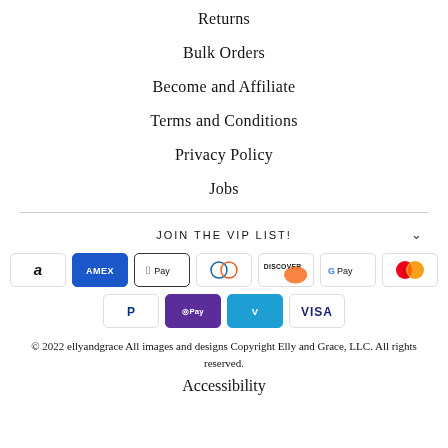Returns
Bulk Orders
Become and Affiliate
Terms and Conditions
Privacy Policy
Jobs
JOIN THE VIP LIST!
[Figure (other): Payment method icons: Amazon, American Express, Apple Pay, Diners Club, Discover, Google Pay, Mastercard, PayPal, Shop Pay, Venmo, Visa]
© 2022 ellyandgrace All images and designs Copyright Elly and Grace, LLC. All rights reserved.
Accessibility